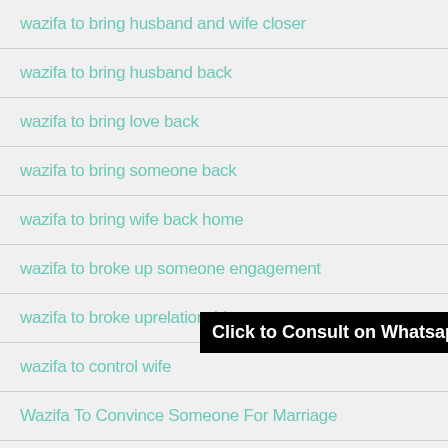wazifa to bring husband and wife closer
wazifa to bring husband back
wazifa to bring love back
wazifa to bring someone back
wazifa to bring wife back home
wazifa to broke up someone engagement
wazifa to broke uprelationship
wazifa to control wife
Wazifa To Convince Someone For Marriage
wazifa to forget someone you love
Click to Consult on Whatsapp